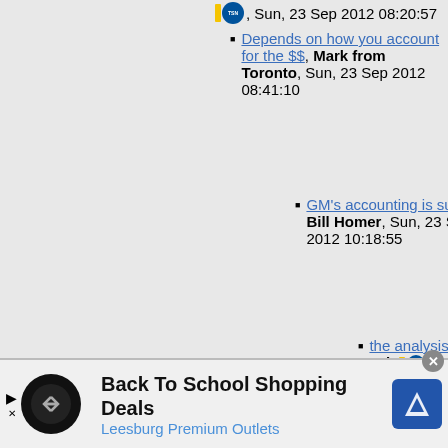[TSN icon], Sun, 23 Sep 2012 08:20:57
Depends on how you account for the $$, Mark from Toronto, Sun, 23 Sep 2012 08:41:10
GM's accounting is suspect, Bill Homer, Sun, 23 Sep 2012 10:18:55
the analysis, saabsince 93b [TSN icon], Sun, 23 Sep 2012 10:36:58
Similar analysis will result in $200k losses on 9-5s., dmz789qqq, Mon, 24 Sep 2012 06:39:48
[Figure (infographic): Advertisement banner: Back To School Shopping Deals - Leesburg Premium Outlets, with logo and navigation icon]